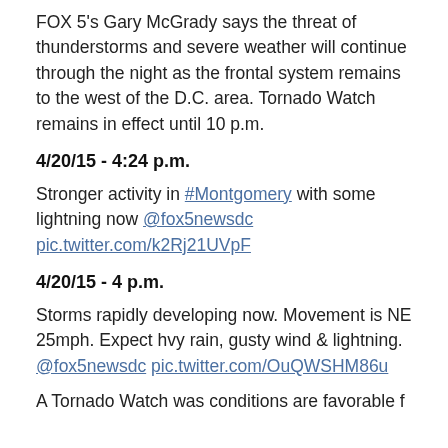FOX 5's Gary McGrady says the threat of thunderstorms and severe weather will continue through the night as the frontal system remains to the west of the D.C. area. Tornado Watch remains in effect until 10 p.m.
4/20/15 - 4:24 p.m.
Stronger activity in #Montgomery with some lightning now @fox5newsdc pic.twitter.com/k2Rj21UVpF
4/20/15 - 4 p.m.
Storms rapidly developing now. Movement is NE 25mph. Expect hvy rain, gusty wind & lightning. @fox5newsdc pic.twitter.com/OuQWSHM86u
A Tornado Watch was conditions are favorable f